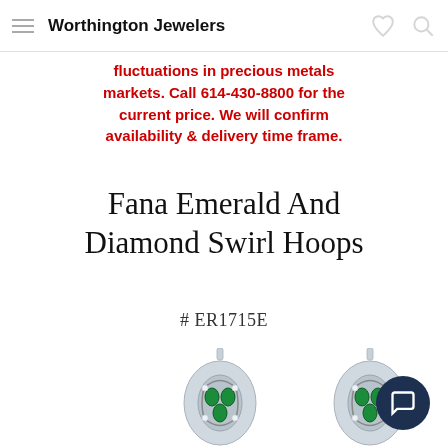Worthington Jewelers
fluctuations in precious metals markets. Call 614-430-8800 for the current price. We will confirm availability & delivery time frame.
Fana Emerald And Diamond Swirl Hoops
# ER1715E
[Figure (photo): Two emerald and diamond swirl hoop earrings in white gold with green emerald gemstones and diamond accents in a swirl/infinity design]